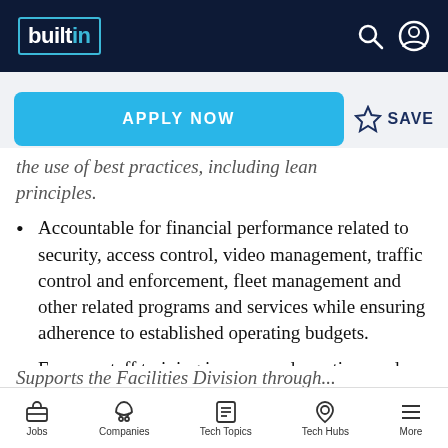builtin — navigation header with search and account icons
APPLY NOW | SAVE
the use of best practices, including lean principles.
Accountable for financial performance related to security, access control, video management, traffic control and enforcement, fleet management and other related programs and services while ensuring adherence to established operating budgets.
Ensures staff training in approved practices and procedures related to proper security practices.
Supports the Facilities Division through...
Jobs | Companies | Tech Topics | Tech Hubs | More